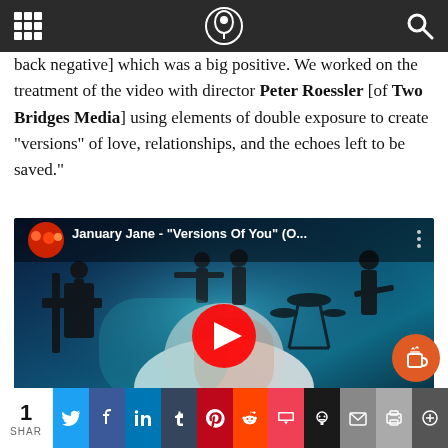Navigation bar with grid menu, logo, and search icon
back negative] which was a big positive. We worked on the treatment of the video with director Peter Roessler [of Two Bridges Media] using elements of double exposure to create “versions” of love, relationships, and the echoes left to be saved.”
[Figure (screenshot): Embedded YouTube video thumbnail showing January Jane - "Versions Of You" (O...) with silhouettes of band members performing on stage with blue/teal lighting and double exposure effect. Red circular YouTube play button in center. Channel avatar shows band members in red attire.]
1 SHAR | Twitter | Facebook | LinkedIn | Tumblr | Pinterest | Reddit | Pocket | Skull | Mail | Print | Plus